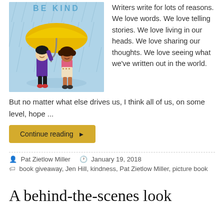[Figure (illustration): Book cover illustration showing two children under a large yellow umbrella in the rain. Title text 'BE KIND' visible at top. One child in purple coat, one in pink top with patterned shorts. Blue/grey rainy background.]
Writers write for lots of reasons. We love words. We love telling stories. We love living in our heads. We love sharing our thoughts. We love seeing what we've written out in the world. But no matter what else drives us, I think all of us, on some level, hope ...
Continue reading ▶
Pat Zietlow Miller   January 19, 2018
book giveaway, Jen Hill, kindness, Pat Zietlow Miller, picture book
A behind-the-scenes look